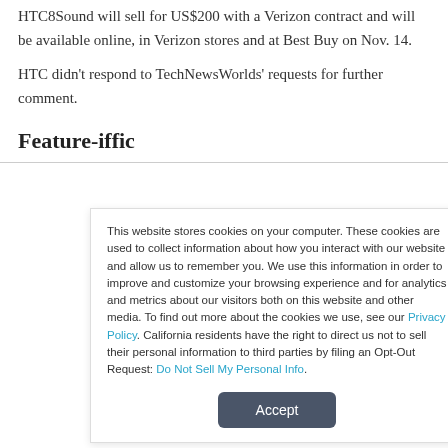HTC8Sound will sell for US$200 with a Verizon contract and will be available online, in Verizon stores and at Best Buy on Nov. 14.
HTC didn't respond to TechNewsWorlds' requests for further comment.
Feature-iffic
This website stores cookies on your computer. These cookies are used to collect information about how you interact with our website and allow us to remember you. We use this information in order to improve and customize your browsing experience and for analytics and metrics about our visitors both on this website and other media. To find out more about the cookies we use, see our Privacy Policy. California residents have the right to direct us not to sell their personal information to third parties by filing an Opt-Out Request: Do Not Sell My Personal Info.